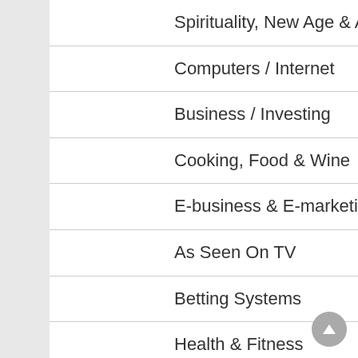Spirituality, New Age & Alternative Beliefs
Computers / Internet
Business / Investing
Cooking, Food & Wine
E-business & E-marketing
As Seen On TV
Betting Systems
Health & Fitness
Games
Green Products
Fiction
Employment & Jobs